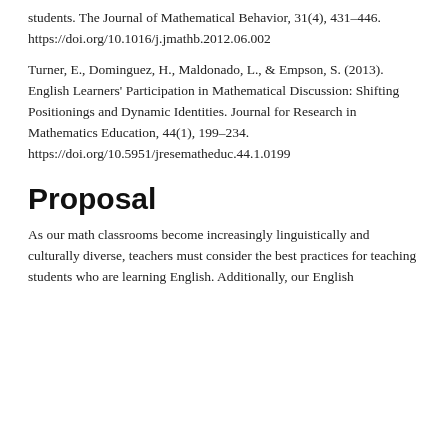students. The Journal of Mathematical Behavior, 31(4), 431–446. https://doi.org/10.1016/j.jmathb.2012.06.002 Turner, E., Dominguez, H., Maldonado, L., & Empson, S. (2013). English Learners' Participation in Mathematical Discussion: Shifting Positionings and Dynamic Identities. Journal for Research in Mathematics Education, 44(1), 199–234. https://doi.org/10.5951/jresematheduc.44.1.0199
Proposal
As our math classrooms become increasingly linguistically and culturally diverse, teachers must consider the best practices for teaching students who are learning English. Additionally, our English